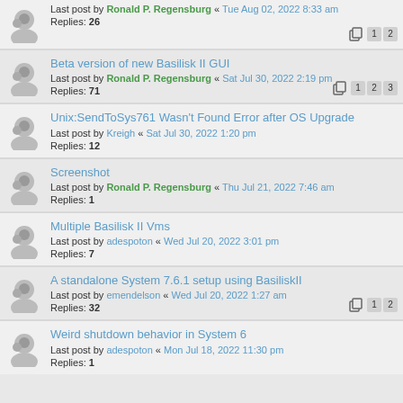Last post by Ronald P. Regensburg « Tue Aug 02, 2022 8:33 am
Replies: 26
Pages: 1 2
Beta version of new Basilisk II GUI
Last post by Ronald P. Regensburg « Sat Jul 30, 2022 2:19 pm
Replies: 71
Pages: 1 2 3
Unix:SendToSys761 Wasn't Found Error after OS Upgrade
Last post by Kreigh « Sat Jul 30, 2022 1:20 pm
Replies: 12
Screenshot
Last post by Ronald P. Regensburg « Thu Jul 21, 2022 7:46 am
Replies: 1
Multiple Basilisk II Vms
Last post by adespoton « Wed Jul 20, 2022 3:01 pm
Replies: 7
A standalone System 7.6.1 setup using BasiliskII
Last post by emendelson « Wed Jul 20, 2022 1:27 am
Replies: 32
Pages: 1 2
Weird shutdown behavior in System 6
Last post by adespoton « Mon Jul 18, 2022 11:30 pm
Replies: 1